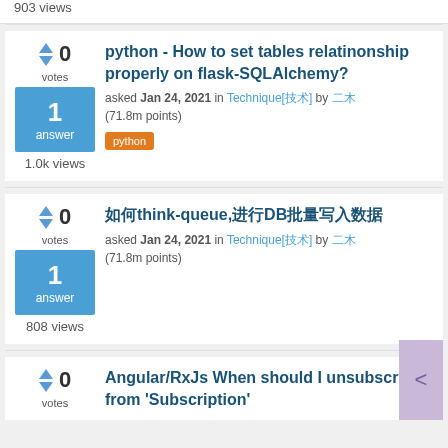903 views
python - How to set tables relatinonship properly on flask-SQLAlchemy?
asked Jan 24, 2021 in Technique[技术] by 二木 (71.8m points)
python
1.0k views
如何think-queue,进行DB批量写入数据
asked Jan 24, 2021 in Technique[技术] by 二木 (71.8m points)
808 views
Angular/RxJs When should I unsubscribe from 'Subscription'